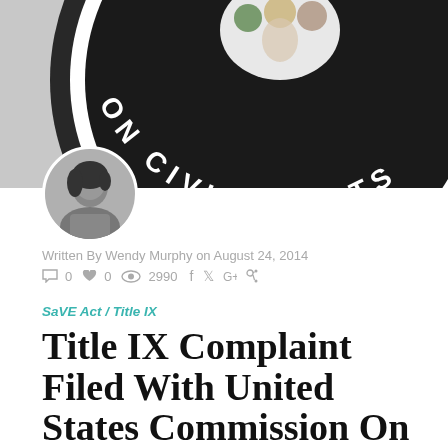[Figure (logo): US Commission on Civil Rights seal/logo, circular emblem with text 'ON CIVIL RIGHTS' and decorative imagery, shown cropped at top of page]
[Figure (photo): Black and white circular author photo of Wendy Murphy, a woman with dark hair]
Written By Wendy Murphy on August 24, 2014
0  0  2990  f  ✓  G+
SaVE Act / Title IX
Title IX Complaint Filed With United States Commission On Civil Rights